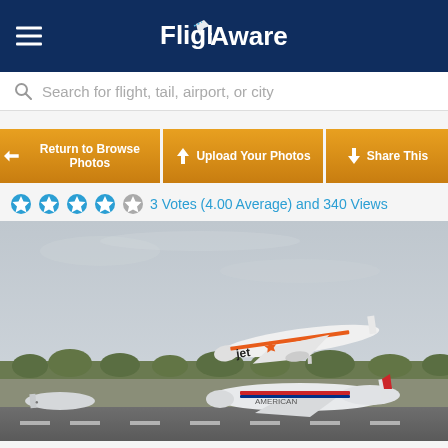FlightAware
Search for flight, tail, airport, or city
← Return to Browse Photos
↑ Upload Your Photos
↓ Share This
3 Votes (4.00 Average) and 340 Views
[Figure (photo): Two aircraft on airport tarmac: a JetStar aircraft taking off above an American Airlines aircraft on the runway, with trees and overcast sky in background.]